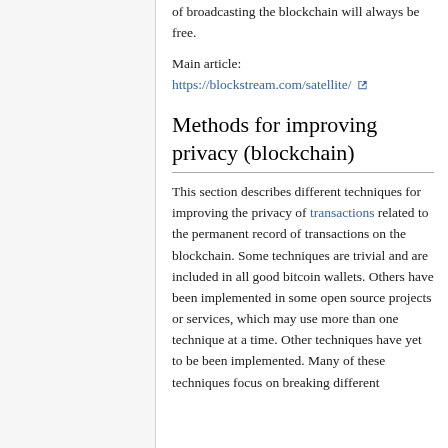of broadcasting the blockchain will always be free.
Main article:
https://blockstream.com/satellite/
Methods for improving privacy (blockchain)
This section describes different techniques for improving the privacy of transactions related to the permanent record of transactions on the blockchain. Some techniques are trivial and are included in all good bitcoin wallets. Others have been implemented in some open source projects or services, which may use more than one technique at a time. Other techniques have yet to be been implemented. Many of these techniques focus on breaking different